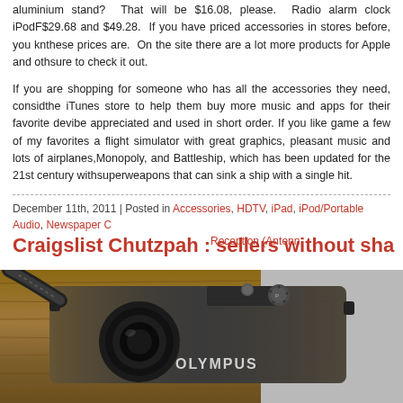aluminium stand? That will be $16.08, please. Radio alarm clock iPodF... $29.68 and $49.28. If you have priced accessories in stores before, you know these prices are. On the site there are a lot more products for Apple and other sure to check it out.
If you are shopping for someone who has all the accessories they need, consid... the iTunes store to help them buy more music and apps for their favorite devic... be appreciated and used in short order. If you like game a few of my favorites a... a flight simulator with great graphics, pleasant music and lots of airplanes, Monopoly, and Battleship, which has been updated for the 21st century with superweapons that can sink a ship with a single hit.
December 11th, 2011 | Posted in Accessories, HDTV, iPad, iPod/Portable Audio, Newspaper C... Reception (Antenn...
Craigslist Chutzpah : sellers without sha...
[Figure (photo): Close-up photo of an Olympus mirrorless camera body with a strap, shown against a wooden and grey background.]